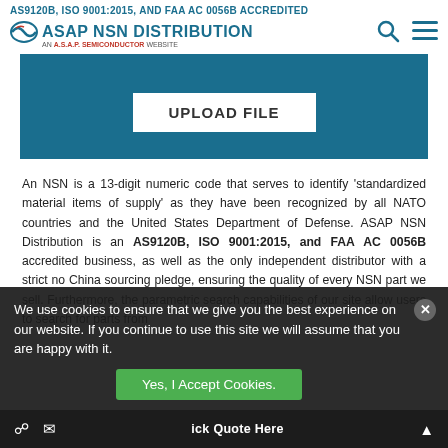AS9120B, ISO 9001:2015, AND FAA AC 0056B ACCREDITED
[Figure (logo): ASAP NSN Distribution logo with swoosh icon and subtitle 'AN ASAP SEMICONDUCTOR WEBSITE']
[Figure (screenshot): UPLOAD FILE button on dark teal background]
An NSN is a 13-digit numeric code that serves to identify 'standardized material items of supply' as they have been recognized by all NATO countries and the United States Department of Defense. ASAP NSN Distribution is an AS9120B, ISO 9001:2015, and FAA AC 0056B accredited business, as well as the only independent distributor with a strict no China sourcing pledge, ensuring the quality of every NSN part we sell. Furthermore, the parametric search capabilities of our site allow users to search for parts from
We use cookies to ensure that we give you the best experience on our website. If you continue to use this site we will assume that you are happy with it.
Yes, I Accept Cookies.   Click Quote Here